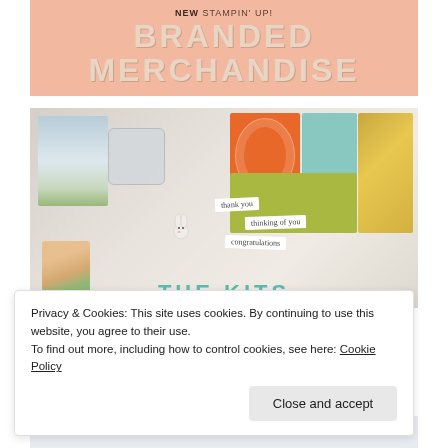[Figure (illustration): Stampin Up branded merchandise banner with salmon/peach background reading NEW STAMPIN UP BRANDED MERCHANDISE in large decorative text]
[Figure (photo): Product photo showing crafting supplies including greeting cards, a stamp block, orange patterned card, teal and gold cards, small bunny die cut, and sentiment labels reading thank you, thinking of you, congratulations. Text THE KITS appears at bottom in teal.]
Privacy & Cookies: This site uses cookies. By continuing to use this website, you agree to their use.
To find out more, including how to control cookies, see here: Cookie Policy
Close and accept